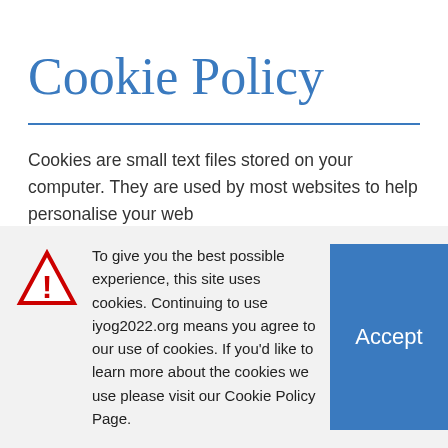Cookie Policy
Cookies are small text files stored on your computer. They are used by most websites to help personalise your web
To give you the best possible experience, this site uses cookies. Continuing to use iyog2022.org means you agree to our use of cookies. If you'd like to learn more about the cookies we use please visit our Cookie Policy Page.